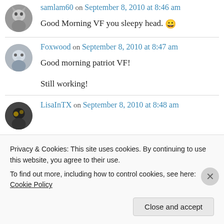samlam60 on September 8, 2010 at 8:46 am
Good Morning VF you sleepy head. 😀
Foxwood on September 8, 2010 at 8:47 am
Good morning patriot VF!

Still working!
LisaInTX on September 8, 2010 at 8:48 am
Privacy & Cookies: This site uses cookies. By continuing to use this website, you agree to their use.
To find out more, including how to control cookies, see here: Cookie Policy
Close and accept